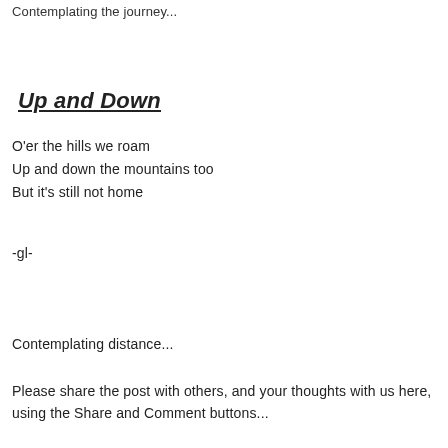Contemplating the journey...
Up and Down
O'er the hills we roam
Up and down the mountains too
But it's still not home
-gl-
Contemplating distance...
Please share the post with others, and your thoughts with us here, using the Share and Comment buttons...